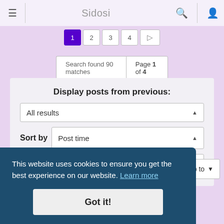≡  Sidosi  🔍  👤
1  2  3  4  ▶
Search found 90 matches  Page 1 of 4
Display posts from previous:
All results ▲
Sort by  Post time ▲
Descending ▲  Go
This website uses cookies to ensure you get the best experience on our website. Learn more
Got it!
Jump to ▼
Community